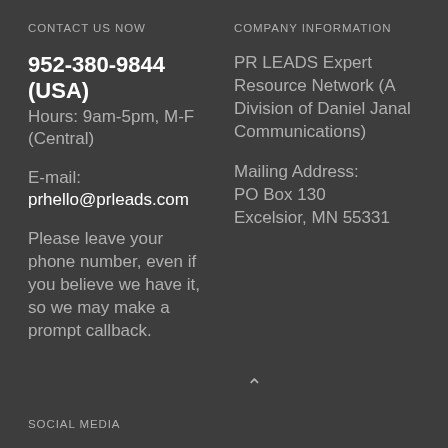CONTACT US NOW
COMPANY INFORMATION
952-380-9844 (USA)
Hours: 9am-5pm, M-F (Central)
E-mail:
prhello@prleads.com
Please leave your phone number, even if you believe we have it, so we may make a prompt callback.
PR LEADS Expert Resource Network (A Division of Daniel Janal Communications)
Mailing Address:
PO Box 130
Excelsior, MN 55331
SOCIAL MEDIA